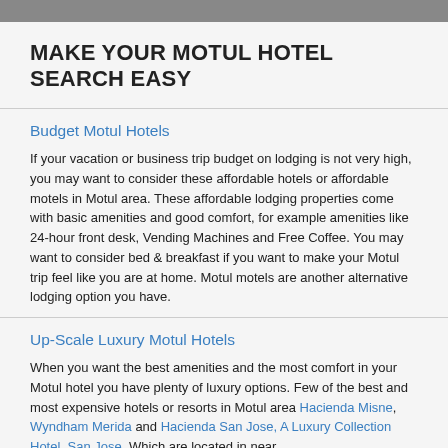MAKE YOUR MOTUL HOTEL SEARCH EASY
Budget Motul Hotels
If your vacation or business trip budget on lodging is not very high, you may want to consider these affordable hotels or affordable motels in Motul area. These affordable lodging properties come with basic amenities and good comfort, for example amenities like 24-hour front desk, Vending Machines and Free Coffee. You may want to consider bed & breakfast if you want to make your Motul trip feel like you are at home. Motul motels are another alternative lodging option you have.
Up-Scale Luxury Motul Hotels
When you want the best amenities and the most comfort in your Motul hotel you have plenty of luxury options. Few of the best and most expensive hotels or resorts in Motul area Hacienda Misne, Wyndham Merida and Hacienda San Jose, A Luxury Collection Hotel, San Jose. Which are located in near